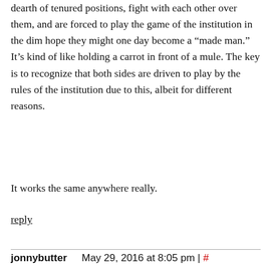dearth of tenured positions, fight with each other over them, and are forced to play the game of the institution in the dim hope they might one day become a “made man.” It’s kind of like holding a carrot in front of a mule. The key is to recognize that both sides are driven to play by the rules of the institution due to this, albeit for different reasons.
It works the same anywhere really.
reply
jonnybutter    May 29, 2016 at 8:05 pm | #